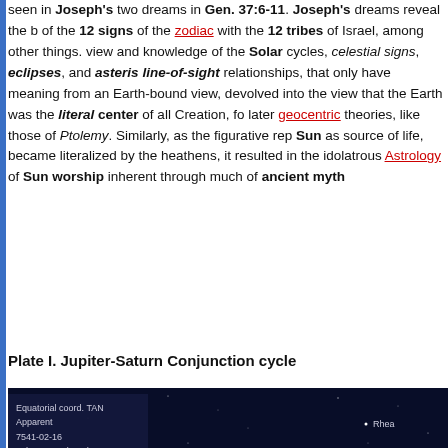seen in Joseph's two dreams in Gen. 37:6-11. Joseph's dreams reveal the b[alance] of the 12 signs of the zodiac with the 12 tribes of Israel, among other things. [This] view and knowledge of the Solar cycles, celestial signs, eclipses, and asteris[ms as] line-of-sight relationships, that only have meaning from an Earth-bound view[point,] devolved into the view that the Earth was the literal center of all Creation, fo[rming] later geocentric theories, like those of Ptolemy. Similarly, as the figurative rep[resentation of] Sun as source of life, became literalized by the heathens, it resulted in the idolatrous Astrology of Sun worship inherent through much of ancient myth[ology].
Plate I. Jupiter-Saturn Conjunction cycle
[Figure (photo): Astronomical simulation screenshot showing Jupiter-Saturn conjunction in dark night sky. Info box in top-left shows: Equatorial coord. TAN, Apparent, 7541-02-16, 11h50m00s (UTC), Mag:16.5, FOV:+00°03'13". Saturn with rings visible at center-left of image, Jupiter below-right of Saturn. Moons labeled: Rhea (top right), Dione (right), Tethys (center), Enceladus (right-center), Mimas (right-center). Planet labels: Saturn, Jupiter.]